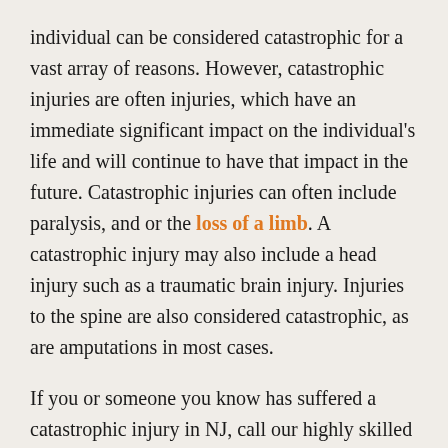individual can be considered catastrophic for a vast array of reasons.  However, catastrophic injuries are often injuries, which have an immediate significant impact on the individual's life and will continue to have that impact in the future.  Catastrophic injuries can often include paralysis, and or the loss of a limb.  A catastrophic injury may also include a head injury such as a traumatic brain injury. Injuries to the spine are also considered catastrophic, as are amputations in most cases.
If you or someone you know has suffered a catastrophic injury in NJ, call our highly skilled New Jersey personal injury lawyers today.  Our attorneys represent individuals who have suffered a catastrophic injury through no fault